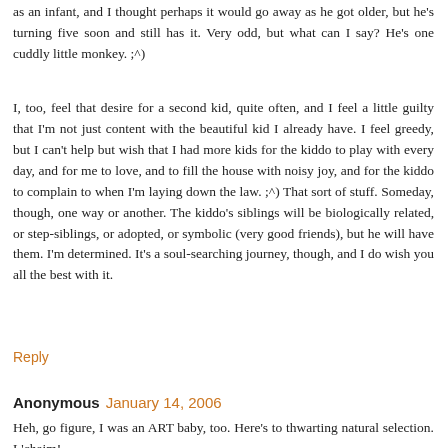as an infant, and I thought perhaps it would go away as he got older, but he's turning five soon and still has it. Very odd, but what can I say? He's one cuddly little monkey. ;^)
I, too, feel that desire for a second kid, quite often, and I feel a little guilty that I'm not just content with the beautiful kid I already have. I feel greedy, but I can't help but wish that I had more kids for the kiddo to play with every day, and for me to love, and to fill the house with noisy joy, and for the kiddo to complain to when I'm laying down the law. ;^) That sort of stuff. Someday, though, one way or another. The kiddo's siblings will be biologically related, or step-siblings, or adopted, or symbolic (very good friends), but he will have them. I'm determined. It's a soul-searching journey, though, and I do wish you all the best with it.
Reply
Anonymous January 14, 2006
Heh, go figure, I was an ART baby, too. Here's to thwarting natural selection. L'chaim!